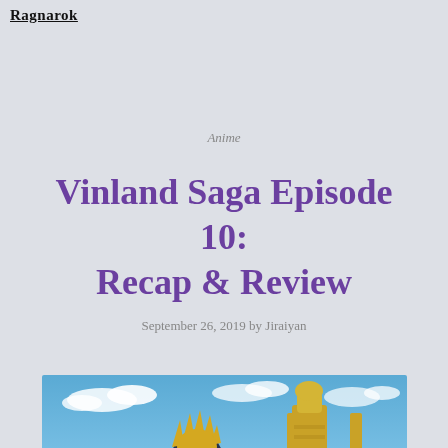Ragnarok
Anime
Vinland Saga Episode 10: Recap & Review
September 26, 2019 by Jiraiyan
[Figure (photo): Anime scene from Vinland Saga Episode 10 showing a character with spiky blonde hair against a blue sky with clouds, with a golden armored figure visible to the right]